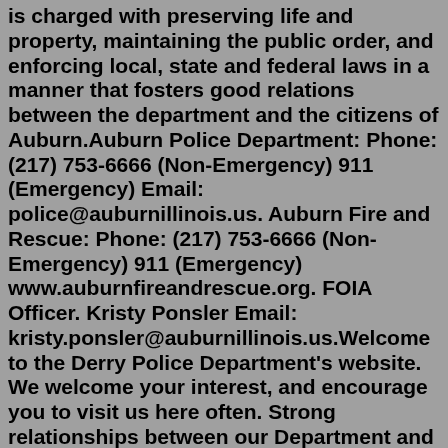is charged with preserving life and property, maintaining the public order, and enforcing local, state and federal laws in a manner that fosters good relations between the department and the citizens of Auburn.Auburn Police Department: Phone: (217) 753-6666 (Non-Emergency) 911 (Emergency) Email: police@auburnillinois.us. Auburn Fire and Rescue: Phone: (217) 753-6666 (Non-Emergency) 911 (Emergency) www.auburnfireandrescue.org. FOIA Officer. Kristy Ponsler Email: kristy.ponsler@auburnillinois.us.Welcome to the Derry Police Department's website. We welcome your interest, and encourage you to visit us here often. Strong relationships between our Department and the people we serve have always been very important to us. We want to build on these relationships and encourage your participation in them. That's why this website provides you ...Police Department. The Goodland Police Department is a full service law enforcement agency responsible for enforcing state statutes and city ordinances within the boundaries of